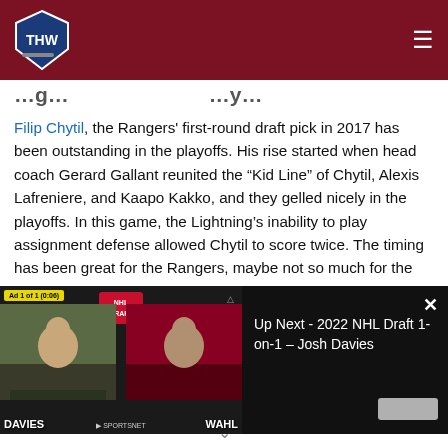THW - The Hockey Writers
[partial article title]
Filip Chytil, the Rangers' first-round draft pick in 2017 has been outstanding in the playoffs. His rise started when head coach Gerard Gallant reunited the “Kid Line” of Chytil, Alexis Lafreniere, and Kaapo Kakko, and they gelled nicely in the playoffs. In this game, the Lightning’s inability to play assignment defense allowed Chytil to score twice. The timing has been great for the Rangers, maybe not so much for the Lightning. The 22-year-old scored just eight goals in the
[Figure (screenshot): Embedded video player overlay showing an NHL Draft 1-on-1 interview with Josh Davies and Wahl. Ad badge reads 'Ad 1 of 1 (0:06)'. Right panel shows 'Up Next - 2022 NHL Draft 1-on-1 - Josh Davies' on black background with X close button.]